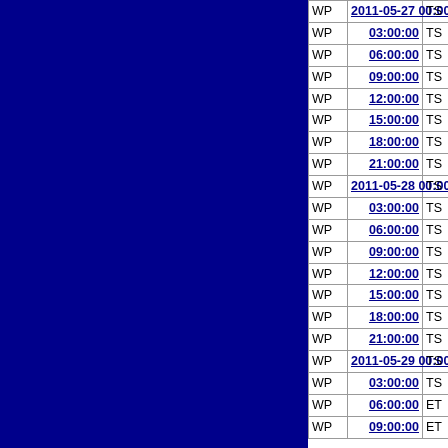|  |  |  |  |
| --- | --- | --- | --- |
| WP | 2011-05-27 00:00:00 | TS | 18.1 |
| WP | 03:00:00 | TS | 18.6 |
| WP | 06:00:00 | TS | 19.2 |
| WP | 09:00:00 | TS | 19.8 |
| WP | 12:00:00 | TS | 20.4 |
| WP | 15:00:00 | TS | 20.8 |
| WP | 18:00:00 | TS | 21.4 |
| WP | 21:00:00 | TS | 22.2 |
| WP | 2011-05-28 00:00:00 | TS | 22.9 |
| WP | 03:00:00 | TS | 23.8 |
| WP | 06:00:00 | TS | 24.7 |
| WP | 09:00:00 | TS | 25.5 |
| WP | 12:00:00 | TS | 26.4 |
| WP | 15:00:00 | TS | 27.4 |
| WP | 18:00:00 | TS | 28.6 |
| WP | 21:00:00 | TS | 29.5 |
| WP | 2011-05-29 00:00:00 | TS | 30.6 |
| WP | 03:00:00 | TS | 31.7 |
| WP | 06:00:00 | ET | 32.9 |
| WP | 09:00:00 | ET | 33.7 |